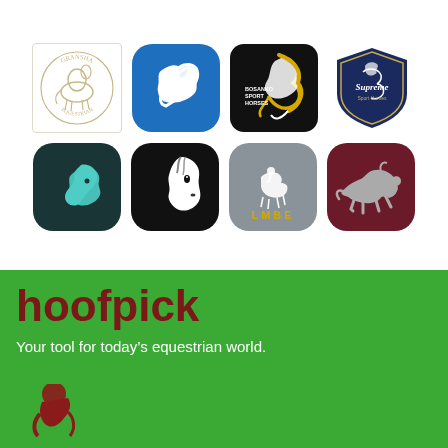[Figure (logo): Grid of 8 equestrian brand logos: Gransha Equestrian (circular horse logo, white/gold on white), a blue rounded-square app icon with white horse silhouette, Bosanko Sport Horses (black square with golden horse), Supreme Sport Horses (navy shield badge), a dark teal rounded-square with cyan horse head, a black rounded-square with white horse head, LMBE (grey rounded-square with horse rider and yellow text), and a dark red rounded-square with grey running horse silhouette.]
hoofpick
Your tool for today's equestrian world.
[Figure (logo): Partial hoofpick app icon — red/maroon horse-and-rider logo on green background, cropped at page bottom.]